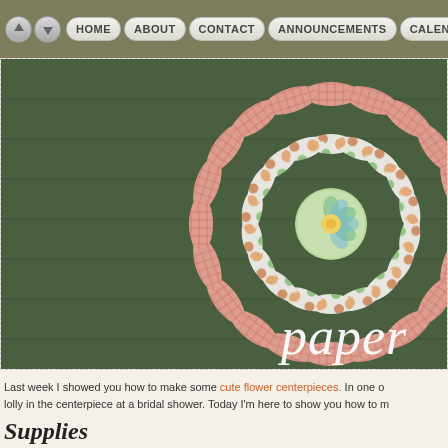HOME | ABOUT | CONTACT | ANNOUNCEMENTS | CALENDAR
[Figure (photo): Paper rosette/pinwheel decoration made from pink plaid and polka dot paper, on a green background, with text overlay 'paper']
Last week I showed you how to make some cute flower centerpieces. In one of the photos you could see a fun lolly in the centerpiece at a bridal shower. Today I'm here to show you how to make
Supplies
1 piece of 12" x 12" paper
1 piece of contrasting 6"x6" paper
Paper cutter (I use this one by Cricut...)